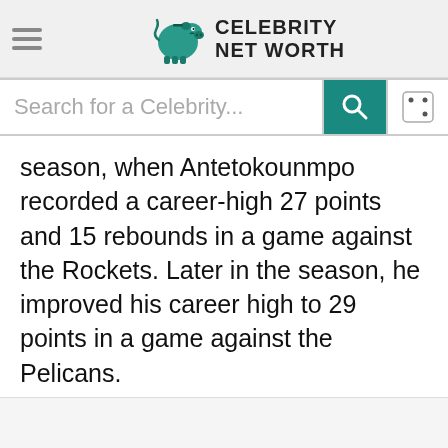Celebrity Net Worth
[Figure (screenshot): Search bar with teal search button and dice icon button]
season, when Antetokounmpo recorded a career-high 27 points and 15 rebounds in a game against the Rockets. Later in the season, he improved his career high to 29 points in a game against the Pelicans.